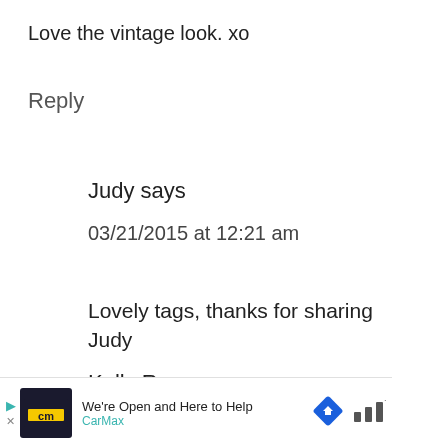Love the vintage look. xo
Reply
Judy says
03/21/2015 at 12:21 am
Lovely tags, thanks for sharing
Judy
Kelly Rowe says
[Figure (other): CarMax advertisement bar: We're Open and Here to Help]
[Figure (other): Heart/like button (teal circle with heart icon) with count 1, and share button]